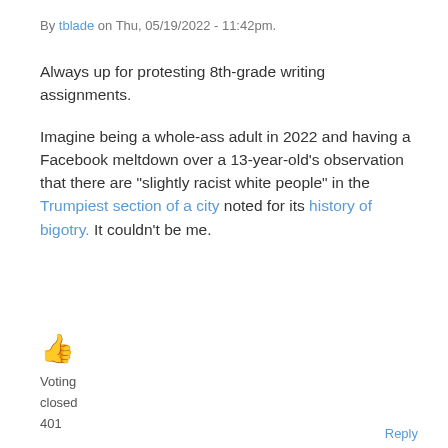By tblade on Thu, 05/19/2022 - 11:42pm.
Always up for protesting 8th-grade writing assignments.
Imagine being a whole-ass adult in 2022 and having a Facebook meltdown over a 13-year-old's observation that there are "slightly racist white people" in the Trumpiest section of a city noted for its history of bigotry. It couldn't be me.
[Figure (other): Thumbs up emoji icon in orange/yellow color]
Voting
closed
401
Reply
Teachable moment
By MrZip on Fri, 05/20/2022 - 12:16am.